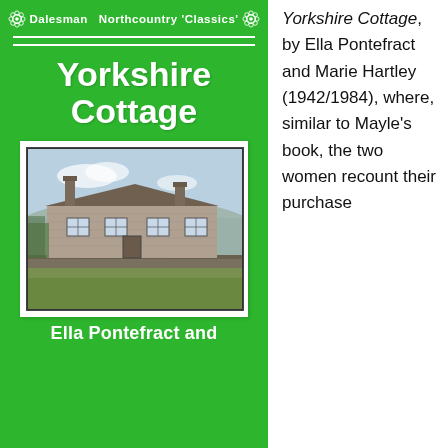[Figure (photo): Book cover of 'Yorkshire Cottage' from Dalesman Northcountry Classics series. Green cover with white bold title text 'Yorkshire Cottage', a header bar with rosette decorations and text 'Dalesman Northcountry Classics', and a photograph of a stone Yorkshire cottage with dry stone wall and grassy field in foreground.]
Yorkshire Cottage, by Ella Pontefract and Marie Hartley (1942/1984), where, similar to Mayle's book, the two women recount their purchase